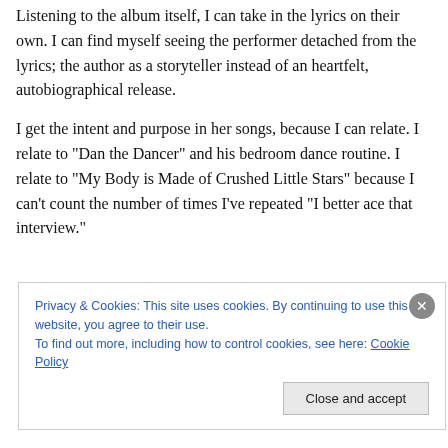Listening to the album itself, I can take in the lyrics on their own. I can find myself seeing the performer detached from the lyrics; the author as a storyteller instead of an heartfelt, autobiographical release.
I get the intent and purpose in her songs, because I can relate. I relate to "Dan the Dancer" and his bedroom dance routine. I relate to "My Body is Made of Crushed Little Stars" because I can't count the number of times I've repeated "I better ace that interview."
Privacy & Cookies: This site uses cookies. By continuing to use this website, you agree to their use.
To find out more, including how to control cookies, see here: Cookie Policy